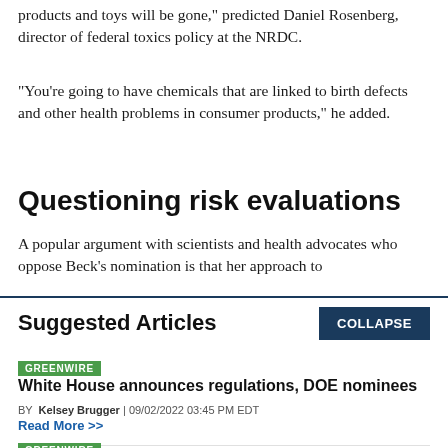products and toys will be gone," predicted Daniel Rosenberg, director of federal toxics policy at the NRDC.
"You're going to have chemicals that are linked to birth defects and other health problems in consumer products," he added.
Questioning risk evaluations
A popular argument with scientists and health advocates who oppose Beck's nomination is that her approach to
Suggested Articles
COLLAPSE
GREENWIRE
White House announces regulations, DOE nominees
BY Kelsey Brugger | 09/02/2022 03:45 PM EDT
Read More >>
GREENWIRE
Murkowski, GOP challenger clash over Haaland, drilling,